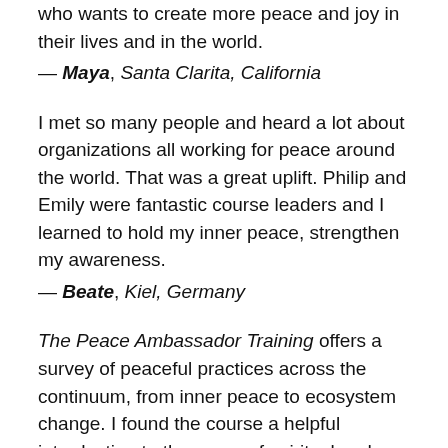who wants to create more peace and joy in their lives and in the world.
— Maya, Santa Clarita, California
I met so many people and heard a lot about organizations all working for peace around the world. That was a great uplift. Philip and Emily were fantastic course leaders and I learned to hold my inner peace, strengthen my awareness.
— Beate, Kiel, Germany
The Peace Ambassador Training offers a survey of peaceful practices across the continuum, from inner peace to ecosystem change. I found the course a helpful introduction to the range of spiritual and practical solutions that are available for each of us to resist aggression and violence and instead choose peace. Peace Begins with Me. Now